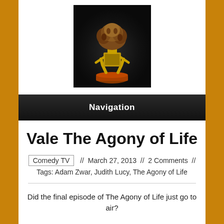[Figure (photo): A gold trophy figurine with a wild brown bushy hair top, carrying a dark box/cube on its back, standing on a brown wooden base, set against a dark circular vignette background.]
Navigation
Vale The Agony of Life
Comedy TV  //  March 27, 2013  //  2 Comments  //
Tags: Adam Zwar, Judith Lucy, The Agony of Life
Did the final episode of The Agony of Life just go to air?